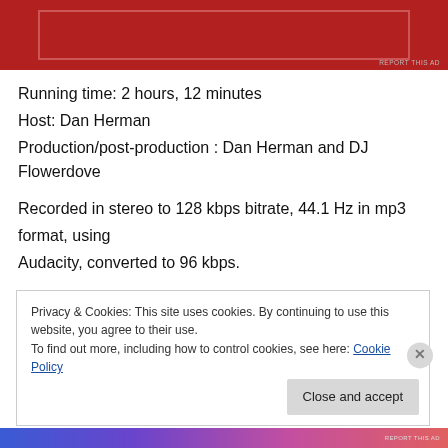[Figure (other): Red advertisement banner with inner bordered rectangle]
Running time: 2 hours, 12 minutes
Host: Dan Herman
Production/post-production : Dan Herman and DJ Flowerdove
Recorded in stereo to 128 kbps bitrate, 44.1 Hz in mp3 format, using Audacity, converted to 96 kbps.
Privacy & Cookies: This site uses cookies. By continuing to use this website, you agree to their use.
To find out more, including how to control cookies, see here: Cookie Policy